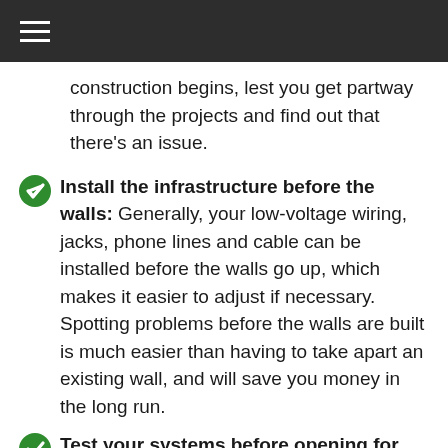construction begins, lest you get partway through the projects and find out that there's an issue.
Install the infrastructure before the walls: Generally, your low-voltage wiring, jacks, phone lines and cable can be installed before the walls go up, which makes it easier to adjust if necessary. Spotting problems before the walls are built is much easier than having to take apart an existing wall, and will save you money in the long run.
Test your systems before opening for business: Finally, make sure you test all of your systems well before opening to the public. Testing the telecom services ensures that if there are any problems, you can contact the individual vendors and get any issues sorted out, so there